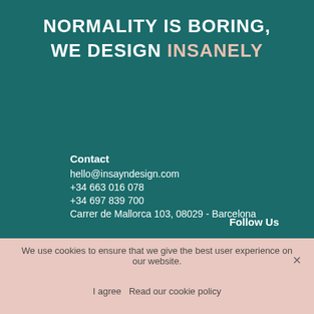NORMALITY IS BORING, WE DESIGN INSANELY
Contact
hello@insayndesign.com
+34 663 016 078
+34 697 839 700
Carrer de Mallorca 103, 08029 - Barcelona
Follow Us
We use cookies to ensure that we give the best user experience on our website.
I agree   Read our cookie policy